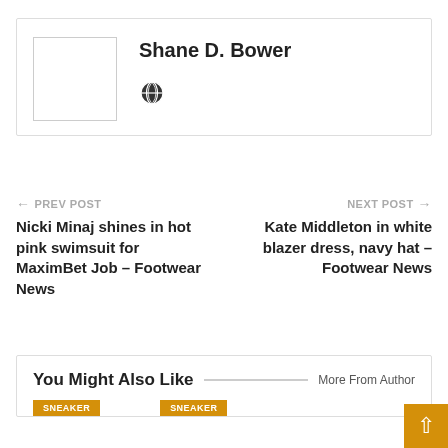Shane D. Bower
PREV POST — Nicki Minaj shines in hot pink swimsuit for MaximBet Job – Footwear News
NEXT POST — Kate Middleton in white blazer dress, navy hat – Footwear News
You Might Also Like   More From Author
SNEAKER   SNEAKER